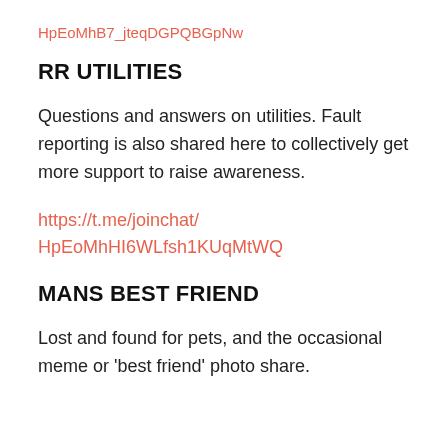HpEoMhB7_jteqDGPQBGpNw
RR UTILITIES
Questions and answers on utilities. Fault reporting is also shared here to collectively get more support to raise awareness.
https://t.me/joinchat/
HpEoMhHI6WLfsh1KUqMtWQ
MANS BEST FRIEND
Lost and found for pets, and the occasional meme or 'best friend' photo share.